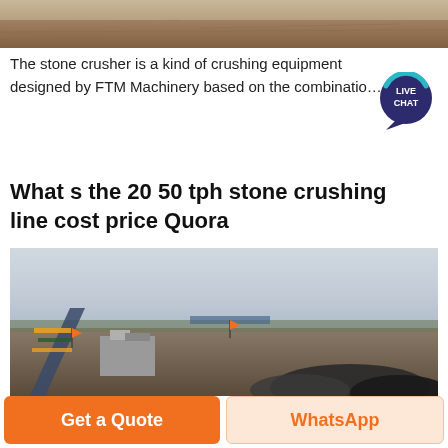[Figure (photo): Aerial/ground-level photo of a sandy/earthy quarry or construction site landscape at the top of the page]
The stone crusher is a kind of crushing equipment designed by FTM Machinery based on the combinatio…
[Figure (other): Live Chat speech bubble badge with teal/dark purple colors, text LIVE CHAT]
What s the 20 50 tph stone crushing line cost price Quora
[Figure (photo): Photo of an industrial stone crushing facility / conveyor belt system at a quarry site with flat landscape and cloudy sky]
Get a Quote
WhatsApp